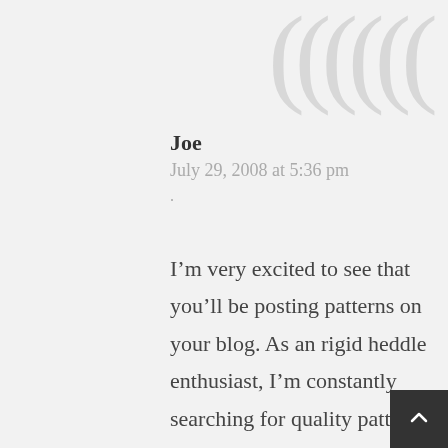[Figure (illustration): Decorative large quotation mark parentheses in light gray at top right]
Joe
July 29, 2008 at 5:36 pm
I’m very excited to see that you’ll be posting patterns on your blog. As an rigid heddle enthusiast, I’m constantly searching for quality patterns which use the rh loom in innovative ways. I